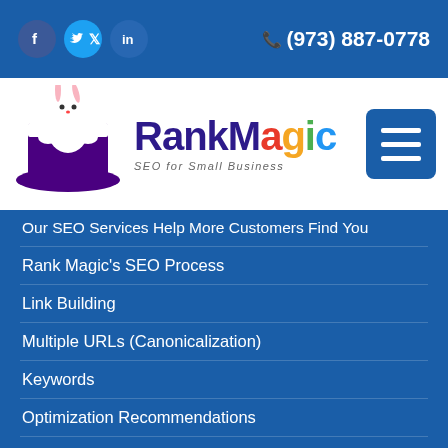f tw in  (973) 887-0778
[Figure (logo): Rank Magic logo: white rabbit in a purple magician's hat with colorful RankMagic text and tagline SEO for Small Business]
Our SEO Services Help More Customers Find You
Rank Magic's SEO Process
Link Building
Multiple URLs (Canonicalization)
Keywords
Optimization Recommendations
Local Search Optimization
Submitting